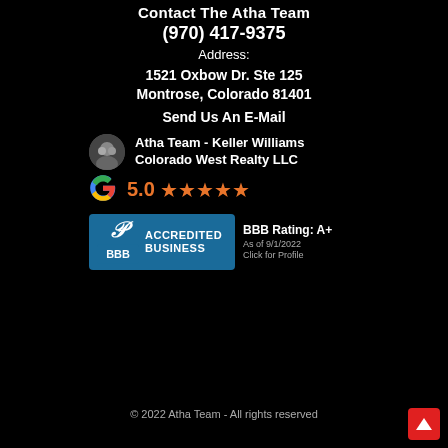Contact The Atha Team
(970) 417-9375
Address:
1521 Oxbow Dr. Ste 125
Montrose, Colorado 81401
Send Us An E-Mail
[Figure (logo): Google review card showing Atha Team - Keller Williams Colorado West Realty LLC with 5.0 star rating and Google G logo]
[Figure (logo): BBB Accredited Business badge with BBB Rating: A+ as of 9/1/2022, Click for Profile]
© 2022 Atha Team - All rights reserved